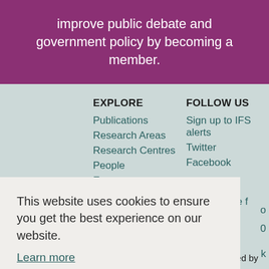improve public debate and government policy by becoming a member.
EXPLORE
Publications
Research Areas
Research Centres
People
Events
News
FOLLOW US
Sign up to IFS alerts
Twitter
Facebook
CONTACT
The Institute f...
This website uses cookies to ensure you get the best experience on our website.
Learn more
Got it!
Limited by